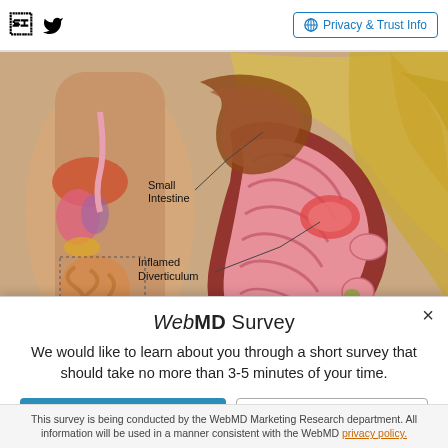Facebook  Twitter  |  Privacy & Trust Info
[Figure (illustration): Medical illustration showing a human torso with digestive system on the left, and a detailed cross-section of the large intestine showing inflamed diverticulum and small intestine on the right, with labeled callouts for 'Small Intestine' and 'Inflamed Diverticulum'.]
WebMD Survey
We would like to learn about you through a short survey that should take no more than 3-5 minutes of your time.
Take the Survey   No Thanks
This survey is being conducted by the WebMD Marketing Research department. All information will be used in a manner consistent with the WebMD privacy policy.